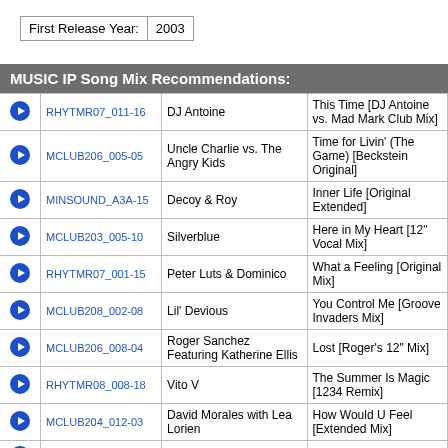| First Release Year: | 2003 |
| --- | --- |
MUSIC IP Song Mix Recommendations:
|  | ID | Artist | Track |
| --- | --- | --- | --- |
| ▶ | RHYTMR07_011-16 | DJ Antoine | This Time [DJ Antoine vs. Mad Mark Club Mix] |
| ▶ | MCLUB206_005-05 | Uncle Charlie vs. The Angry Kids | Time for Livin' (The Game) [Beckstein Original] |
| ▶ | MINSOUND_A3A-15 | Decoy & Roy | Inner Life [Original Extended] |
| ▶ | MCLUB203_005-10 | Silverblue | Here in My Heart [12" Vocal Mix] |
| ▶ | RHYTMR07_001-15 | Peter Luts & Dominico | What a Feeling [Original Mix] |
| ▶ | MCLUB208_002-08 | Lil' Devious | You Control Me [Groove Invaders Mix] |
| ▶ | MCLUB206_008-04 | Roger Sanchez Featuring Katherine Ellis | Lost [Roger's 12" Mix] |
| ▶ | RHYTMR08_008-18 | Vito V | The Summer Is Magic [1234 Remix] |
| ▶ | MCLUB204_012-03 | David Morales with Lea Lorien | How Would U Feel [Extended Mix] |
| ▶ | PCLUB202_003-09 | CRW | I Feel Love |
| ▶ | MCLUB208_001-09 | Above & Beyond | Home [Wippenberg Remix] |
| ▶ | RADIO099_12A-15 | Cassius | La Mouche |
| ▶ | MCLUB206_007-02 | Tribal Man | Morning Light [Original Mix] |
| ▶ | MCLUB208_006-01 | Hard Fi... | I Shall Overcome |